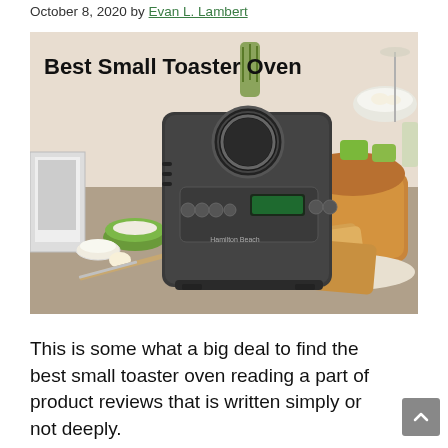October 8, 2020 by Evan L. Lambert
[Figure (photo): A bread machine (Hamilton Beach brand) on a kitchen counter surrounded by bread loaves, sliced toast on a plate with jam, green bowls with flour and an egg, a knife, and kitchen items in the background. Text overlay reads 'Best Small Toaster Oven'.]
This is some what a big deal to find the best small toaster oven reading a part of product reviews that is written simply or not deeply.